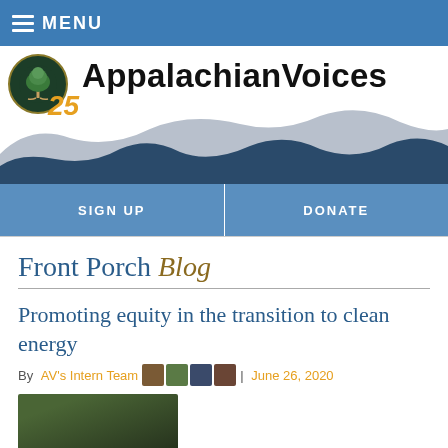≡ MENU
[Figure (logo): AppalachianVoices logo with tree emblem and 25th anniversary badge, with mountain silhouette illustration]
SIGN UP | DONATE
Front Porch Blog
Promoting equity in the transition to clean energy
By AV's Intern Team | June 26, 2020
[Figure (photo): Thumbnail photo, appears to show outdoor/nature scene]